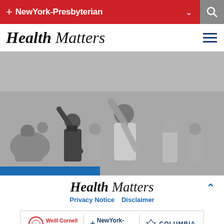NewYork-Presbyterian
Health Matters
[Figure (photo): Black and white photo of people exercising outdoors, with individuals raising their arms during a group fitness activity on a city street.]
Health Matters
Privacy Notice    Disclaimer
[Figure (logo): Partner logos: Weill Cornell Medicine, NewYork-Presbyterian, Columbia]
© 2022 NewYork-Presbyterian